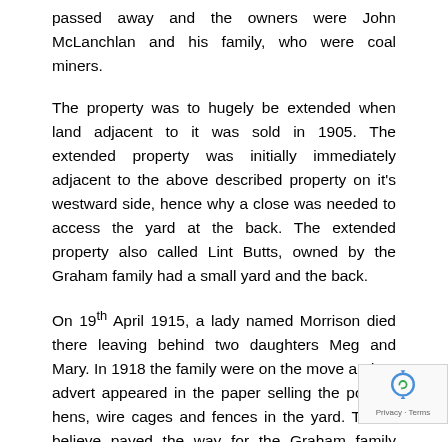passed away and the owners were John McLanchlan and his family, who were coal miners.
The property was to hugely be extended when land adjacent to it was sold in 1905. The extended property was initially immediately adjacent to the above described property on it's westward side, hence why a close was needed to access the yard at the back. The extended property also called Lint Butts, owned by the Graham family had a small yard and the back.
On 19th April 1915, a lady named Morrison died there leaving behind two daughters Meg and Mary. In 1918 the family were on the move and an advert appeared in the paper selling the poultry, hens, wire cages and fences in the yard. This, I believe paved the way for the Graham family where Hugh Graham and his wife Effie bought the property.
However, by 1936, the adjacent Lint Butts Cottage p... had been demolished leaving the close redundant a... the more later extended Lint Butts part of the [building]